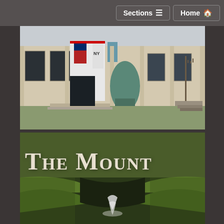Sections  Home
[Figure (photo): Exterior of a neoclassical museum building with banners and flags, bronze sculpture in front]
[Figure (photo): Book or journal cover with dark olive green background showing title 'The Mount' in large serif small-caps white lettering, with a landscape/waterfall image below]